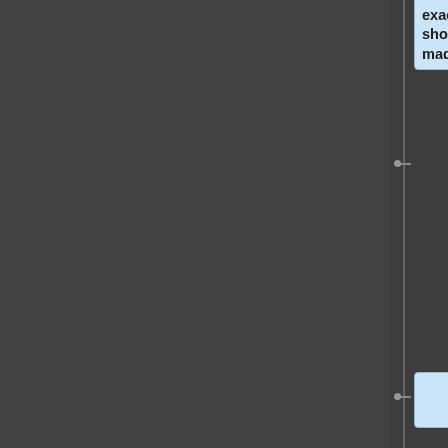the child count matched the exact amount. The notetag effect should work properly now. Fix made by Olivia.
Version 1.28: March 10, 2022
* Documentation Update!
** Help file updated for new features.